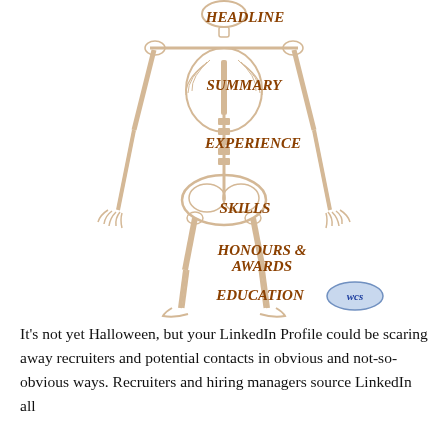[Figure (infographic): A skeleton illustration with LinkedIn profile section labels overlaid on different body parts: HEADLINE at the head/neck, SUMMARY at the chest, EXPERIENCE at the abdomen, SKILLS at the pelvis/hip, HONOURS & AWARDS at the upper legs, EDUCATION at the lower legs/feet. A small oval badge reading 'wcs' appears at bottom right.]
It's not yet Halloween, but your LinkedIn Profile could be scaring away recruiters and potential contacts in obvious and not-so-obvious ways. Recruiters and hiring managers source LinkedIn all